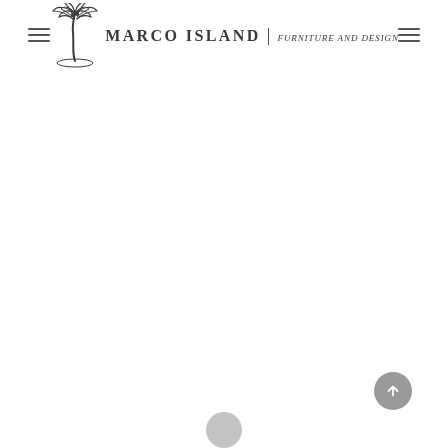Marco Island | Furniture and Design
[Figure (logo): Marco Island Furniture and Design logo with palm tree illustration and brand name text]